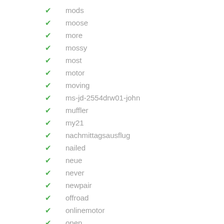mods
moose
more
mossy
most
motor
moving
ms-jd-2554drw01-john
muffler
my21
nachmittagsausflug
nailed
neue
never
newpair
offroad
onlinemotor
open